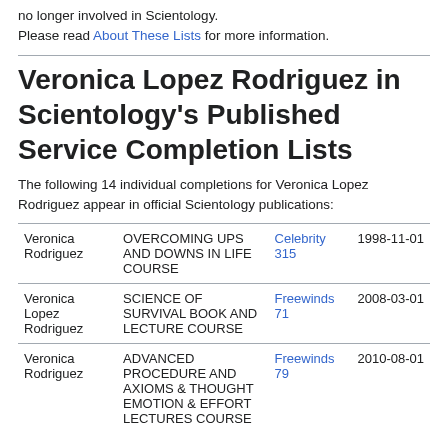no longer involved in Scientology. Please read About These Lists for more information.
Veronica Lopez Rodriguez in Scientology's Published Service Completion Lists
The following 14 individual completions for Veronica Lopez Rodriguez appear in official Scientology publications:
| Name | Course | Publication | Date |
| --- | --- | --- | --- |
| Veronica Rodriguez | OVERCOMING UPS AND DOWNS IN LIFE COURSE | Celebrity 315 | 1998-11-01 |
| Veronica Lopez Rodriguez | SCIENCE OF SURVIVAL BOOK AND LECTURE COURSE | Freewinds 71 | 2008-03-01 |
| Veronica Rodriguez | ADVANCED PROCEDURE AND AXIOMS & THOUGHT EMOTION & EFFORT LECTURES COURSE | Freewinds 79 | 2010-08-01 |